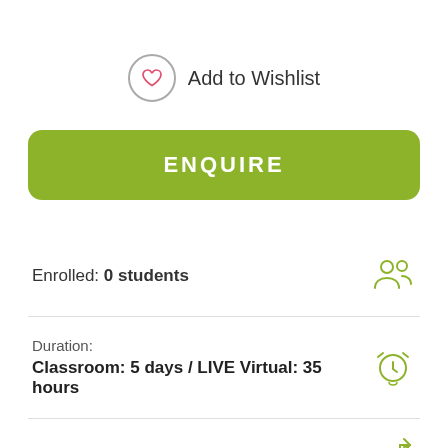Add to Wishlist
ENQUIRE
Enrolled: 0 students
Duration: Classroom: 5 days / LIVE Virtual: 35 hours
Level: Virtual Training